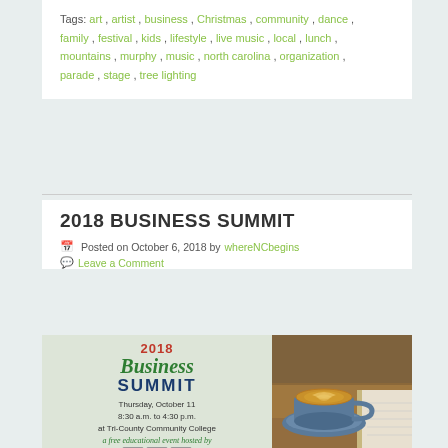Tags: art, artist, business, Christmas, community, dance, family, festival, kids, lifestyle, live music, local, lunch, mountains, murphy, music, north carolina, organization, parade, stage, tree lighting
2018 BUSINESS SUMMIT
Posted on October 6, 2018 by whereNCbegins
Leave a Comment
[Figure (illustration): 2018 Business Summit event flyer with text: Thursday, October 11, 8:30 a.m. to 4:30 p.m., at Tri-County Community College, a free educational event hosted by]
[Figure (photo): Photo of a blue coffee cup with latte art on a table with a notebook]